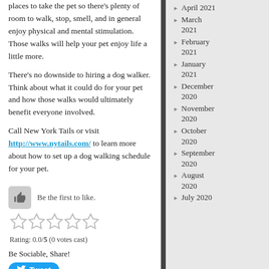places to take the pet so there's plenty of room to walk, stop, smell, and in general enjoy physical and mental stimulation. Those walks will help your pet enjoy life a little more.
There's no downside to hiring a dog walker. Think about what it could do for your pet and how those walks would ultimately benefit everyone involved.
Call New York Tails or visit http://www.nytails.com/ to learn more about how to set up a dog walking schedule for your pet.
Be the first to like.
Rating: 0.0/5 (0 votes cast)
Be Sociable, Share!
Tweet
April 2021
March 2021
February 2021
January 2021
December 2020
November 2020
October 2020
September 2020
August 2020
July 2020